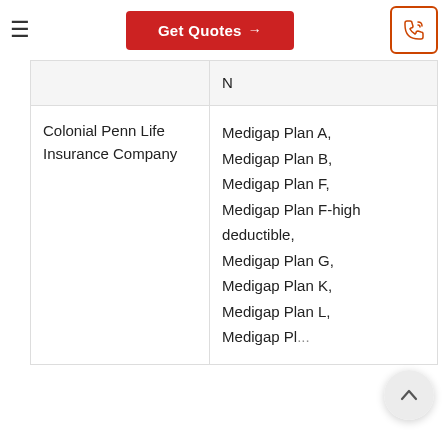Get Quotes →
| Company | Plans Offered |
| --- | --- |
|  | N |
| Colonial Penn Life Insurance Company | Medigap Plan A, Medigap Plan B, Medigap Plan F, Medigap Plan F-high deductible, Medigap Plan G, Medigap Plan K, Medigap Plan L, Medigap Plan... |